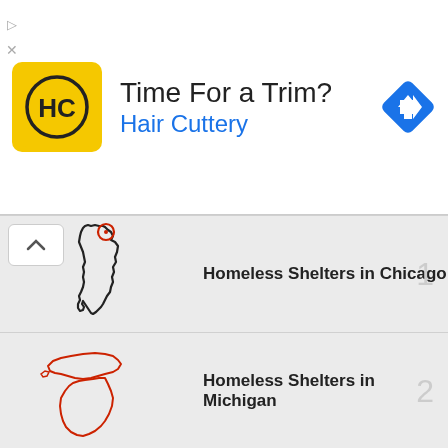[Figure (infographic): Hair Cuttery advertisement banner with yellow logo, text 'Time For a Trim? Hair Cuttery' and a blue navigation arrow icon]
Homeless Shelters in Chicago
Homeless Shelters in Michigan
Homeless Shelters in California
Homeless Shelters in Orlando